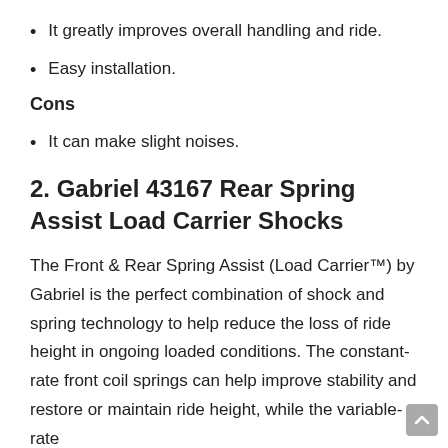It greatly improves overall handling and ride.
Easy installation.
Cons
It can make slight noises.
2. Gabriel 43167 Rear Spring Assist Load Carrier Shocks
The Front & Rear Spring Assist (Load Carrier™) by Gabriel is the perfect combination of shock and spring technology to help reduce the loss of ride height in ongoing loaded conditions. The constant-rate front coil springs can help improve stability and restore or maintain ride height, while the variable-rate